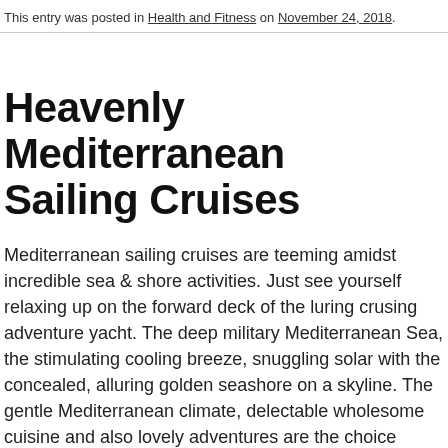This entry was posted in Health and Fitness on November 24, 2018.
Heavenly Mediterranean Sailing Cruises
Mediterranean sailing cruises are teeming amidst incredible sea & shore activities. Just see yourself relaxing up on the forward deck of the luring crusing adventure yacht. The deep military Mediterranean Sea, the stimulating cooling breeze, snuggling solar with the concealed, alluring golden seashore on a skyline. The gentle Mediterranean climate, delectable wholesome cuisine and also lovely adventures are the choice reminders in the course of your sailing ride retreat.
Enjoy a historical attractive Mediterranean sailing cruises occupied to